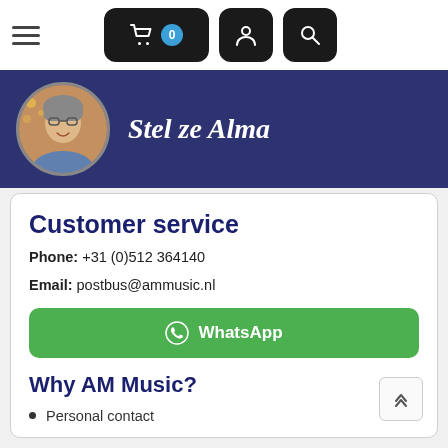Navigation bar with hamburger menu, cart (0), user icon, search icon
[Figure (photo): Hero banner with dark navy background, circular portrait photo of a smiling woman with glasses, and italic white text 'Stel ze Alma']
Customer service
Phone: +31 (0)512 364140
Email: postbus@ammusic.nl
[Figure (other): Green WhatsApp button with WhatsApp icon and text 'WhatsApp']
Why AM Music?
Personal contact
Years of music experience
We deliver top products